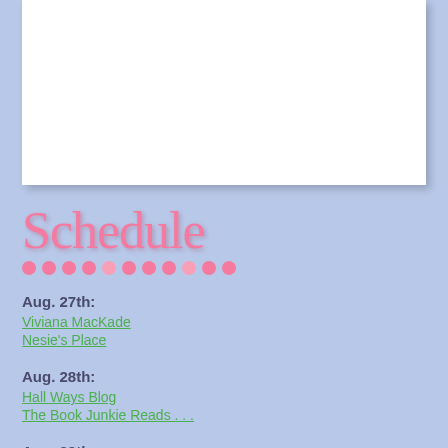[Figure (other): White rectangular box at top of page]
Schedule
Aug. 27th:
Viviana MacKade
Nesie's Place
Aug. 28th:
Hall Ways Blog
The Book Junkie Reads . . .
Aug. 29th: